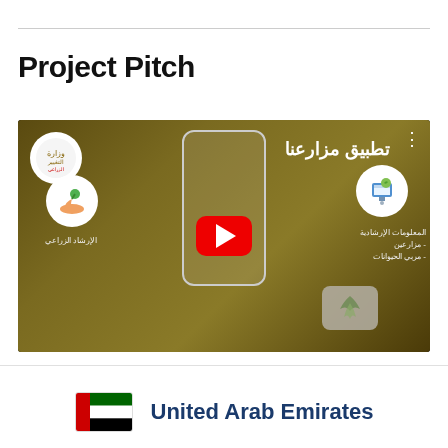Project Pitch
[Figure (screenshot): YouTube-style video thumbnail showing an Arabic agricultural mobile app called 'Mazare3na' (مزارعنا) with a smartphone mockup, icons for agricultural guidance and informational content, play button overlay, and UAE Ministry logo]
United Arab Emirates